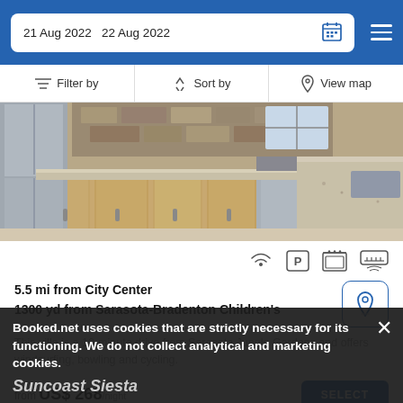21 Aug 2022  22 Aug 2022
Filter by   Sort by   View map
[Figure (photo): Kitchen interior with stainless steel appliances, wooden cabinets, and granite countertops]
5.5 mi from City Center
1300 yd from Sarasota-Bradenton Children's
This villa is a 10-minute drive from Sarasota Jungle Gardens and offers windsurfing, bowling and cycling.
from US$ 268/night
SELECT
Booked.net uses cookies that are strictly necessary for its functioning. We do not collect analytical and marketing cookies.
Suncoast Siesta